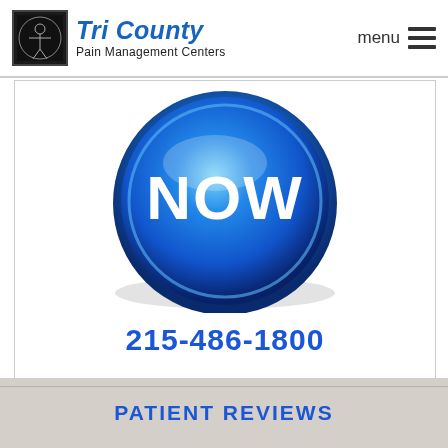Tri County Pain Management Centers — menu
[Figure (logo): Tri County Pain Management Centers logo with Vitruvian man icon and blue italic text]
[Figure (illustration): Blue glossy 'NOW' button with shiny 3D sphere effect]
215-486-1800
HOURS • MAP • DOCTORS REVIEWS • CALL • LOCATIONS
PATIENT REVIEWS